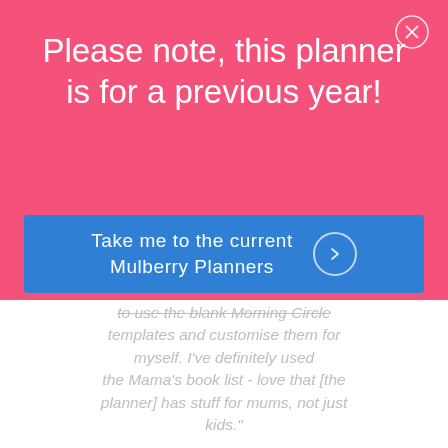Please note, this planner is for a previous year!
Take me to the current Mulberry Planners
to use the blank Morning Circle templates and customise them for myself. I've definitely used the Mama's book list - love that [the planner] has stuff for mums, not just kids."